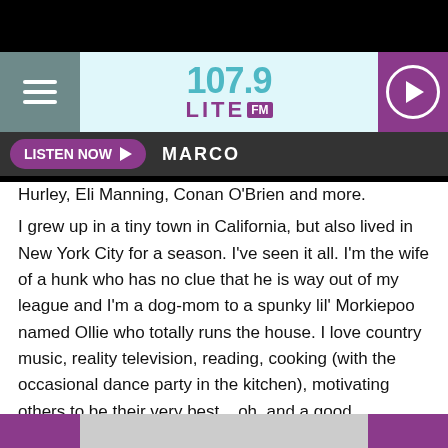[Figure (screenshot): 107.9 Lite FM radio station app header with hamburger menu, teal/purple logo, and purple play button]
LISTEN NOW ▶   MARCO
Hurley, Eli Manning, Conan O'Brien and more.
I grew up in a tiny town in California, but also lived in New York City for a season. I've seen it all. I'm the wife of a hunk who has no clue that he is way out of my league and I'm a dog-mom to a spunky lil' Morkiepoo named Ollie who totally runs the house. I love country music, reality television, reading, cooking (with the occasional dance party in the kitchen), motivating others to be their very best... oh, and a good cheeseburger.
Thank you for the chance to spend time with you each day!